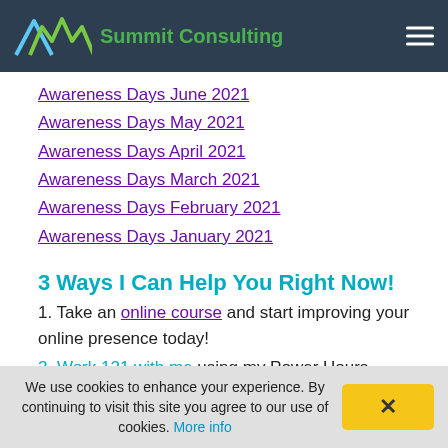Summit Consulting
Awareness Days June 2021
Awareness Days May 2021
Awareness Days April 2021
Awareness Days March 2021
Awareness Days February 2021
Awareness Days January 2021
3 Ways I Can Help You Right Now!
1. Take an online course and start improving your online presence today!
2. Work 121 with me using my Power Hours.
We use cookies to enhance your experience. By continuing to visit this site you agree to our use of cookies. More info